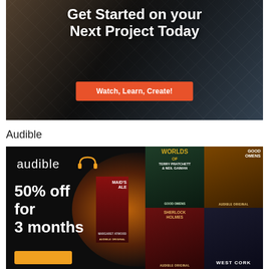[Figure (illustration): Promotional banner with dark background showing crafting/DIY materials with a diamond grid pattern. White bold text reads 'Get Started on your Next Project Today' and an orange button says 'Watch, Learn, Create!']
Audible
[Figure (illustration): Audible advertisement banner with black background, orange glow, Audible logo and headphone icon, white text '50% off for 3 months', orange CTA button, and book covers on the right side including 'Good Omens' by Terry Pratchett & Neil Gaiman, The Handmaid's Tale by Margaret Atwood, a Sherlock Holmes audiobook, and West Cork.]